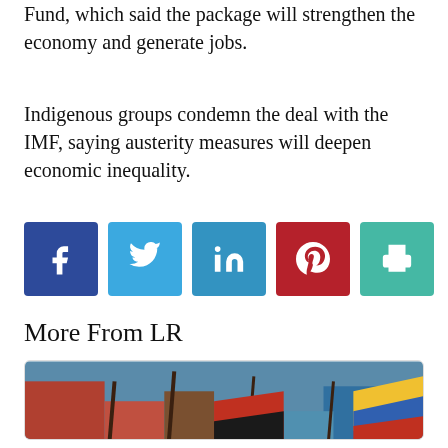Fund, which said the package will strengthen the economy and generate jobs.
Indigenous groups condemn the deal with the IMF, saying austerity measures will deepen economic inequality.
[Figure (infographic): Social share buttons: Facebook (dark blue), Twitter (blue), LinkedIn (blue), Pinterest (red), Print (teal)]
More From LR
[Figure (photo): Photo of indigenous protesters holding spears and flags at a street protest. Overlay text reads: Indigenous Group Leading Protests OKs Dialogue With Ecuador]